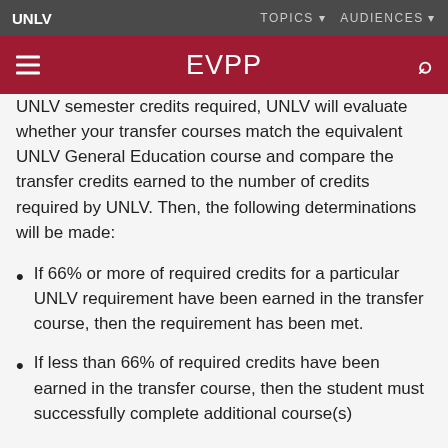UNLV | TOPICS | AUDIENCES
EVPP
UNLV semester credits required, UNLV will evaluate whether your transfer courses match the equivalent UNLV General Education course and compare the transfer credits earned to the number of credits required by UNLV. Then, the following determinations will be made:
If 66% or more of required credits for a particular UNLV requirement have been earned in the transfer course, then the requirement has been met.
If less than 66% of required credits have been earned in the transfer course, then the student must successfully complete additional course(s)